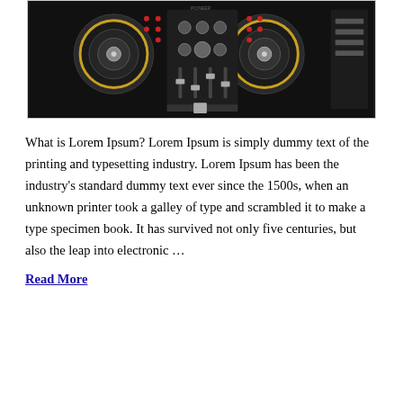[Figure (photo): A dark DJ controller/turntable setup viewed from above, featuring multiple platters, knobs, buttons and faders against a black background.]
What is Lorem Ipsum? Lorem Ipsum is simply dummy text of the printing and typesetting industry. Lorem Ipsum has been the industry’s standard dummy text ever since the 1500s, when an unknown printer took a galley of type and scrambled it to make a type specimen book. It has survived not only five centuries, but also the leap into electronic …
Read More